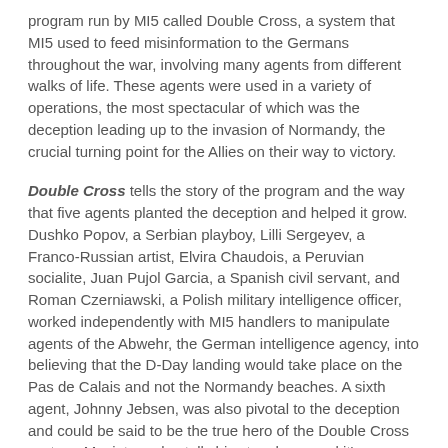program run by MI5 called Double Cross, a system that MI5 used to feed misinformation to the Germans throughout the war, involving many agents from different walks of life. These agents were used in a variety of operations, the most spectacular of which was the deception leading up to the invasion of Normandy, the crucial turning point for the Allies on their way to victory.
Double Cross tells the story of the program and the way that five agents planted the deception and helped it grow. Dushko Popov, a Serbian playboy, Lilli Sergeyev, a Franco-Russian artist, Elvira Chaudois, a Peruvian socialite, Juan Pujol Garcia, a Spanish civil servant, and Roman Czerniawski, a Polish military intelligence officer, worked independently with MI5 handlers to manipulate agents of the Abwehr, the German intelligence agency, into believing that the D-Day landing would take place on the Pas de Calais and not the Normandy beaches. A sixth agent, Johnny Jebsen, was also pivotal to the deception and could be said to be the true hero of the Double Cross system; Macintyre also tells his story here, and it's one you won't forget.